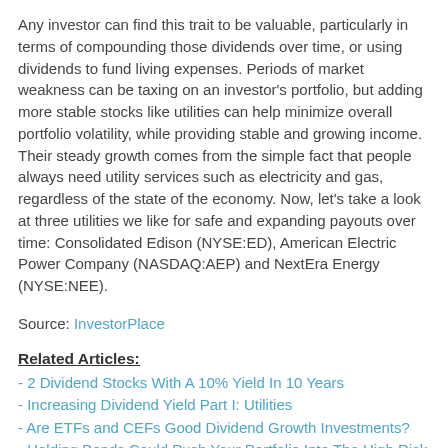Any investor can find this trait to be valuable, particularly in terms of compounding those dividends over time, or using dividends to fund living expenses. Periods of market weakness can be taxing on an investor's portfolio, but adding more stable stocks like utilities can help minimize overall portfolio volatility, while providing stable and growing income. Their steady growth comes from the simple fact that people always need utility services such as electricity and gas, regardless of the state of the economy. Now, let's take a look at three utilities we like for safe and expanding payouts over time: Consolidated Edison (NYSE:ED), American Electric Power Company (NASDAQ:AEP) and NextEra Energy (NYSE:NEE).
Source: InvestorPlace
Related Articles:
- 2 Dividend Stocks With A 10% Yield In 10 Years
- Increasing Dividend Yield Part I: Utilities
- Are ETFs and CEFs Good Dividend Growth Investments?
- Holding Bonds Could Push Your Portfolio Into The High Risk Category